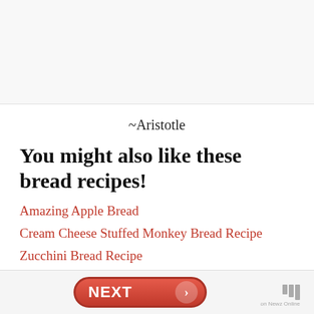[Figure (other): Gray/white top banner area, likely an advertisement or image placeholder]
~Aristotle
You might also like these bread recipes!
Amazing Apple Bread
Cream Cheese Stuffed Monkey Bread Recipe
Zucchini Bread Recipe
Snickerdoodle Zucchini Bread
NEXT  on Newz Online